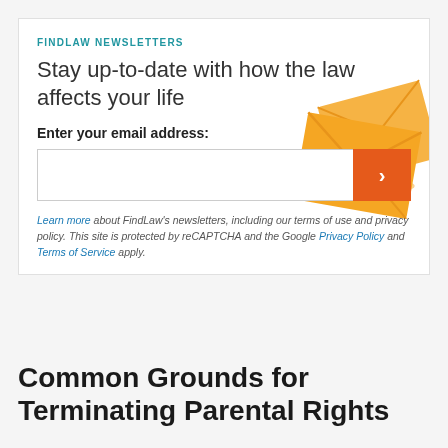FINDLAW NEWSLETTERS
Stay up-to-date with how the law affects your life
Enter your email address:
[Figure (illustration): Orange decorative envelope/newsletter graphic in the top-right corner of the newsletter signup box]
Learn more about FindLaw's newsletters, including our terms of use and privacy policy. This site is protected by reCAPTCHA and the Google Privacy Policy and Terms of Service apply.
Common Grounds for Terminating Parental Rights